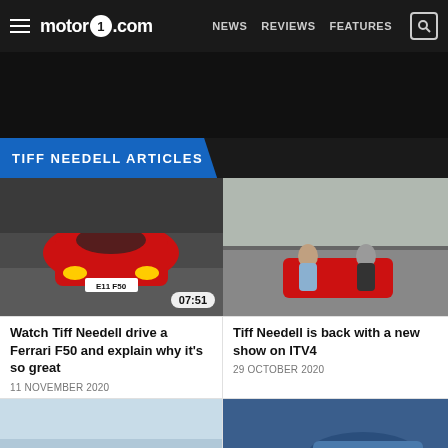motor1.com  NEWS  REVIEWS  FEATURES
[Figure (screenshot): Dark advertisement banner area]
TIFF NEEDELL ARTICLES
[Figure (photo): Red Ferrari F50 driving on road, front view, video duration badge 07:51]
[Figure (photo): Two men sitting on red Ferrari on a race track, video thumbnail]
Watch Tiff Needell drive a Ferrari F50 and explain why it's so great
11 NOVEMBER 2020
Tiff Needell is back with a new show on ITV4
29 OCTOBER 2020
[Figure (photo): Light blue/white thumbnail with video badge 05:01]
[Figure (photo): Blue car on road, video badge 17:15]